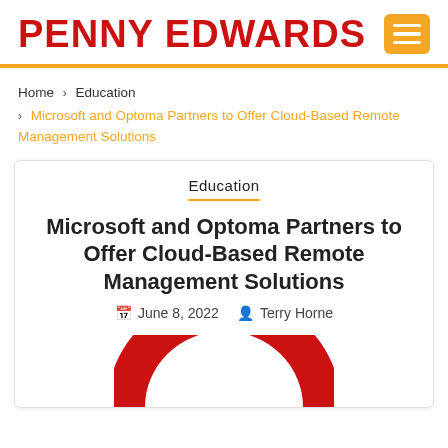PENNY EDWARDS
Home › Education › Microsoft and Optoma Partners to Offer Cloud-Based Remote Management Solutions
Education
Microsoft and Optoma Partners to Offer Cloud-Based Remote Management Solutions
June 8, 2022  Terry Horne
[Figure (logo): Partial view of a large red letter O (Optoma logo) at the bottom of the article card]